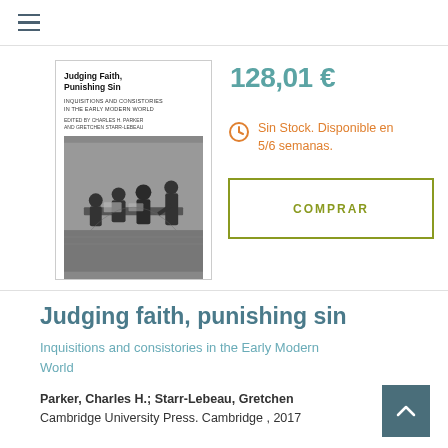≡
[Figure (illustration): Book cover of 'Judging Faith, Punishing Sin: Inquisitions and Consistories in the Early Modern World', edited by Charles H. Parker and Gretchen Starr-LeBeau. Cover shows a black and white historical illustration of figures seated around a table.]
128,01 €
Sin Stock. Disponible en 5/6 semanas.
COMPRAR
Judging faith, punishing sin
Inquisitions and consistories in the Early Modern World
Parker, Charles H.; Starr-Lebeau, Gretchen
Cambridge University Press. Cambridge , 2017